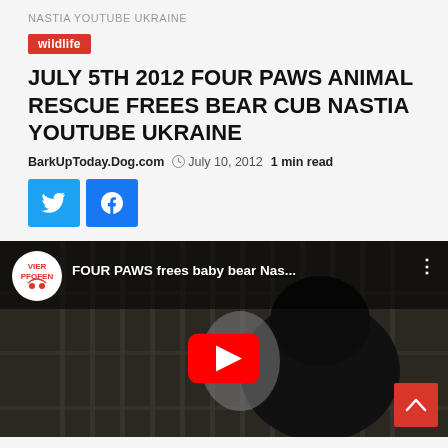NASTIA YOUTUBE UKRAINE
wildlife
JULY 5TH 2012 FOUR PAWS ANIMAL RESCUE FREES BEAR CUB NASTIA YOUTUBE UKRAINE
BarkUpToday.Dog.com  July 10, 2012  1 min read
[Figure (screenshot): YouTube video thumbnail showing a bear cub in a cage with Four Paws (VIER PFOTEN) logo, titled 'FOUR PAWS frees baby bear Nas...' with red YouTube play button overlay]